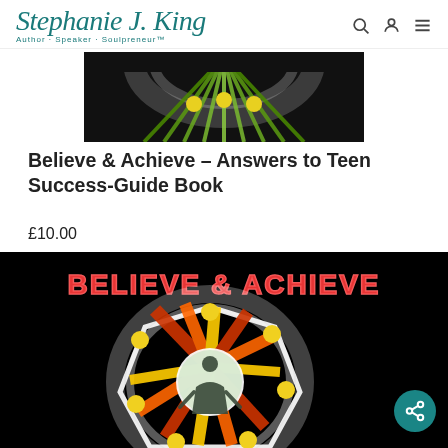Stephanie J. King - Author · Speaker · Soulpreneur™
[Figure (illustration): Partial top of book cover showing a mandala/starburst design with yellow and green tones on a dark background]
Believe & Achieve – Answers to Teen Success-Guide Book
£10.00
[Figure (illustration): Book cover for 'Believe & Achieve' showing the title in glowing red/pink 3D text at top, and a colorful mandala/starburst wheel design with red, yellow, green colors on black background, with a person silhouette in the center]